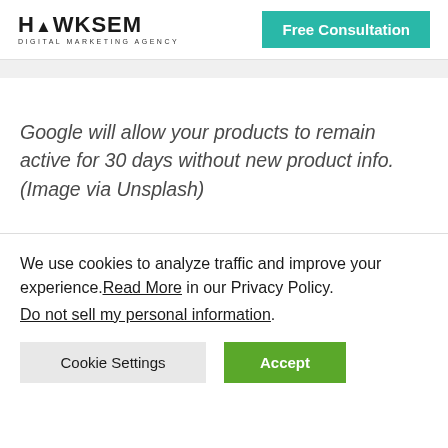[Figure (logo): HawkSEM Digital Marketing Agency logo with 'Free Consultation' teal button]
Google will allow your products to remain active for 30 days without new product info. (Image via Unsplash)
4. Test your ads consistently
We use cookies to analyze traffic and improve your experience. Read More in our Privacy Policy.
Do not sell my personal information.